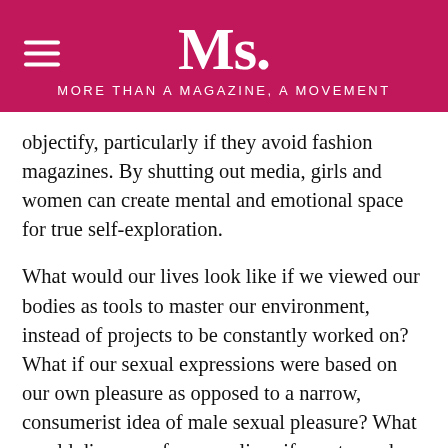Ms. MORE THAN A MAGAZINE, A MOVEMENT
objectify, particularly if they avoid fashion magazines. By shutting out media, girls and women can create mental and emotional space for true self-exploration.
What would our lives look like if we viewed our bodies as tools to master our environment, instead of projects to be constantly worked on? What if our sexual expressions were based on our own pleasure as opposed to a narrow, consumerist idea of male sexual pleasure? What would disappear from our lives if we stopped seeing ourselves as objects? Painful high heels? Body hatred? Constant dieting? Liposuction? Unreciprocated oral sex?